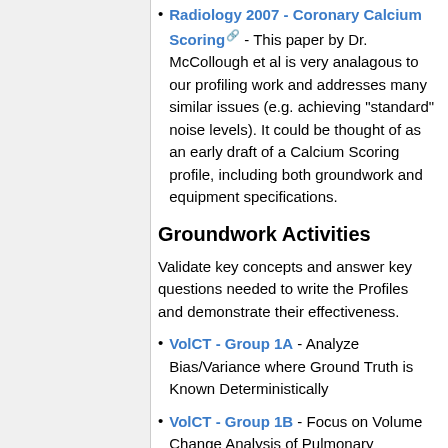Radiology 2007 - Coronary Calcium Scoring [link] - This paper by Dr. McCollough et al is very analagous to our profiling work and addresses many similar issues (e.g. achieving "standard" noise levels). It could be thought of as an early draft of a Calcium Scoring profile, including both groundwork and equipment specifications.
Groundwork Activities
Validate key concepts and answer key questions needed to write the Profiles and demonstrate their effectiveness.
VolCT - Group 1A - Analyze Bias/Variance where Ground Truth is Known Deterministically
VolCT - Group 1B - Focus on Volume Change Analysis of Pulmonary